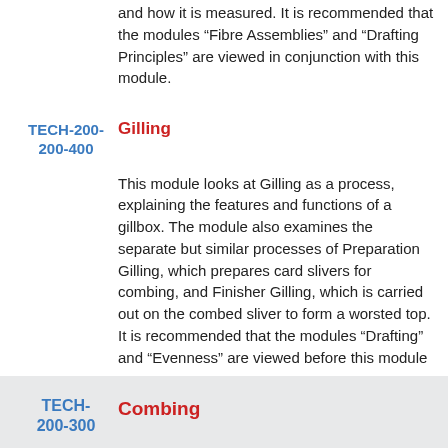and how it is measured. It is recommended that the modules “Fibre Assemblies” and “Drafting Principles” are viewed in conjunction with this module.
TECH-200-200-400
Gilling
This module looks at Gilling as a process, explaining the features and functions of a gillbox. The module also examines the separate but similar processes of Preparation Gilling, which prepares card slivers for combing, and Finisher Gilling, which is carried out on the combed sliver to form a worsted top. It is recommended that the modules “Drafting” and “Evenness” are viewed before this module
TECH-200-300
Combing
The concept of combing is introduced, along with